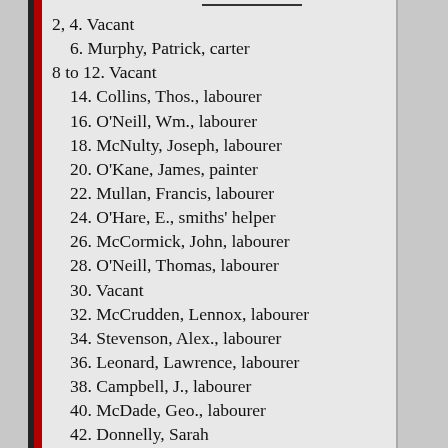2, 4. Vacant
6. Murphy, Patrick, carter
8 to 12. Vacant
14. Collins, Thos., labourer
16. O'Neill, Wm., labourer
18. McNulty, Joseph, labourer
20. O'Kane, James, painter
22. Mullan, Francis, labourer
24. O'Hare, E., smiths' helper
26. McCormick, John, labourer
28. O'Neill, Thomas, labourer
30. Vacant
32. McCrudden, Lennox, labourer
34. Stevenson, Alex., labourer
36. Leonard, Lawrence, labourer
38. Campbell, J., labourer
40. McDade, Geo., labourer
42. Donnelly, Sarah
44. Quinn, Sarah Thompson
46. Hillock, Patk., brick layer
48. Bailey, Peter, labourer
50. Hughes, Wm., labourer
52. Side door